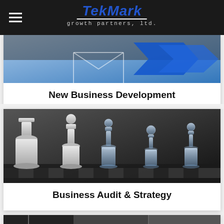TekMark growth partners, ltd.
[Figure (photo): Partial top of a card showing business/growth imagery with blue arrow graphic on blue background]
New Business Development
[Figure (photo): Chess pieces (white and glass/crystal) on a chess board, dark background, representing strategy]
Business Audit & Strategy
[Figure (photo): Partial image at bottom of page, appears to be a business/office related photograph]